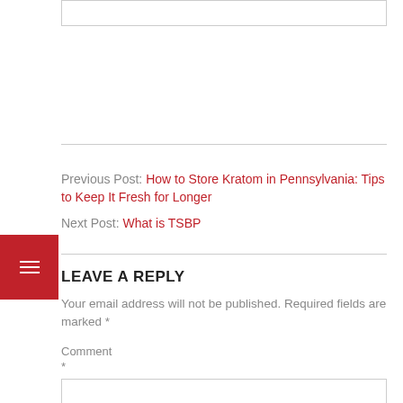Previous Post: How to Store Kratom in Pennsylvania: Tips to Keep It Fresh for Longer
Next Post: What is TSBP
LEAVE A REPLY
Your email address will not be published. Required fields are marked *
Comment *